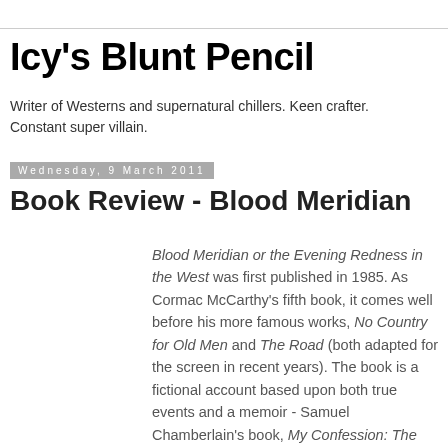Icy's Blunt Pencil
Writer of Westerns and supernatural chillers. Keen crafter. Constant super villain.
Wednesday, 9 March 2011
Book Review - Blood Meridian
Blood Meridian or the Evening Redness in the West was first published in 1985. As Cormac McCarthy's fifth book, it comes well before his more famous works, No Country for Old Men and The Road (both adapted for the screen in recent years). The book is a fictional account based upon both true events and a memoir - Samuel Chamberlain's book, My Confession: The Recollections of a Rogue, detailing his time with the